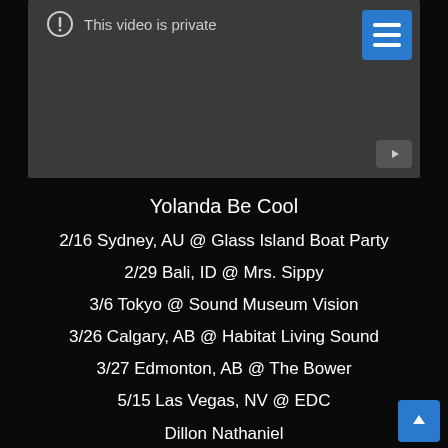[Figure (screenshot): Embedded video player showing 'This video is private' message on dark background, with a blue menu button top-right and YouTube button bottom-right]
Yolanda Be Cool
2/16 Sydney, AU @ Glass Island Boat Party
2/29 Bali, ID @ Mrs. Sippy
3/6 Tokyo @ Sound Museum Vision
3/26 Calgary, AB @ Habitat Living Sound
3/27 Edmonton, AB @ The Bower
5/15 Las Vegas, NV @ EDC
Dillon Nathaniel